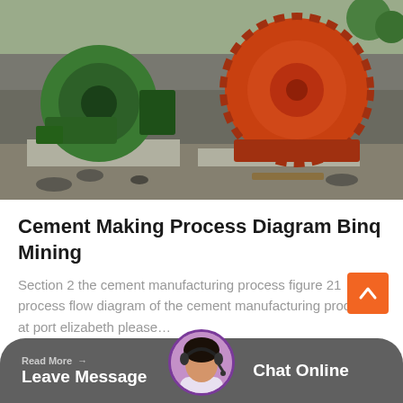[Figure (photo): Industrial mining machinery - a green ball mill on the left and a large red/orange ball mill drum on the right, sitting on concrete pads at an outdoor quarry/mining site with rocky terrain in the background.]
Cement Making Process Diagram Binq Mining
Section 2 the cement manufacturing process figure 21 process flow diagram of the cement manufacturing process at port elizabeth please…
Read More → Leave Message   Chat Online